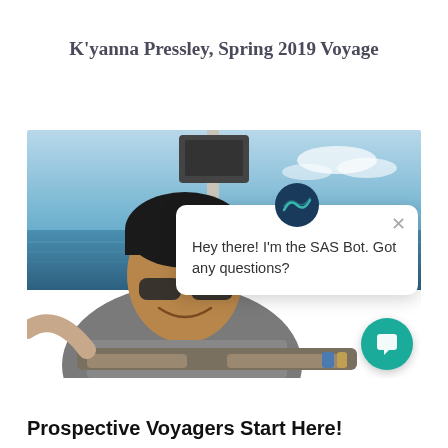K'yanna Pressley, Spring 2019 Voyage
[Figure (photo): Young man wearing sunglasses smiling on a ship deck, ocean and sky in background. A chat bot popup overlay reads 'Hey there! I'm the SAS Bot. Got any questions?' with a teal chat button visible in the lower right.]
Prospective Voyagers Start Here!